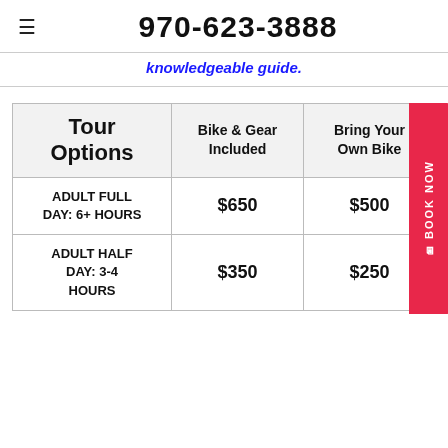970-623-3888
knowledgeable guide.
| Tour Options | Bike & Gear Included | Bring Your Own Bike |
| --- | --- | --- |
| ADULT FULL DAY: 6+ HOURS | $650 | $500 |
| ADULT HALF DAY: 3-4 HOURS | $350 | $250 |